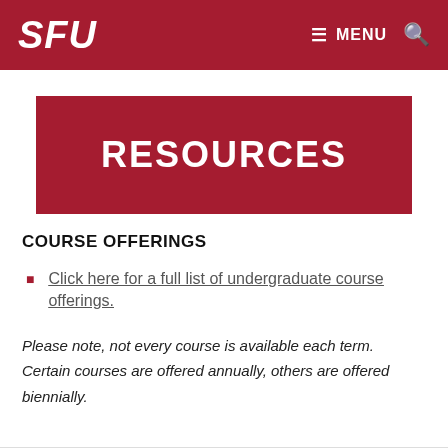SFU  ≡ MENU 🔍
RESOURCES
COURSE OFFERINGS
Click here for a full list of undergraduate course offerings.
Please note, not every course is available each term. Certain courses are offered annually, others are offered biennially.